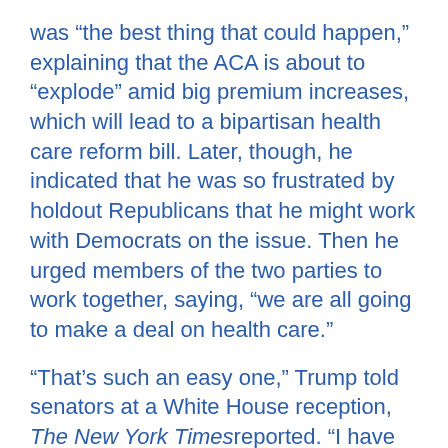was “the best thing that could happen,” explaining that the ACA is about to “explode” amid big premium increases, which will lead to a bipartisan health care reform bill. Later, though, he indicated that he was so frustrated by holdout Republicans that he might work with Democrats on the issue. Then he urged members of the two parties to work together, saying, “we are all going to make a deal on health care.”
“That’s such an easy one,” Trump told senators at a White House reception, The New York Times reported. “I have no doubt that that’s going to happen very quickly.”
Even if a modified proposal were to get through the House, support for the GOP plan is even